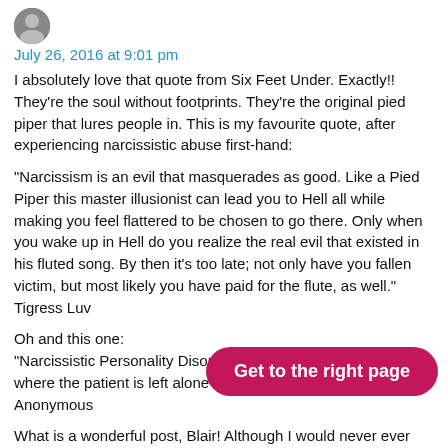July 26, 2016 at 9:01 pm
I absolutely love that quote from Six Feet Under. Exactly!! They're the soul without footprints. They're the original pied piper that lures people in. This is my favourite quote, after experiencing narcissistic abuse first-hand:
“Narcissism is an evil that masquerades as good. Like a Pied Piper this master illusionist can lead you to Hell all while making you feel flattered to be chosen to go there. Only when you wake up in Hell do you realize the real evil that existed in his fluted song. By then it’s too late; not only have you fallen victim, but most likely you have paid for the flute, as well.” Tigress Luv
Oh and this one:
“Narcissistic Personality Disorder: one of the few conditions where the patient is left alone and everyone else is treated.” Anonymous
What is a wonderful post, Blair! Although I would never ever classify you narcissistic i... the ego, but in all my studie... don’t show up as a narcissist.
[Figure (other): Pink/magenta rounded button overlay with text 'Get to the right page']